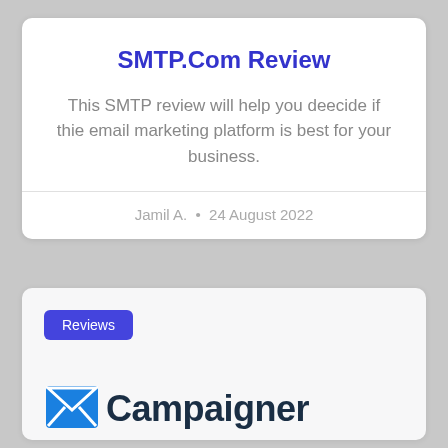SMTP.Com Review
This SMTP review will help you deecide if thie email marketing platform is best for your business.
Jamil A.  •  24 August 2022
Reviews
[Figure (logo): Campaigner logo with envelope icon and the word Campaigner in dark navy font]